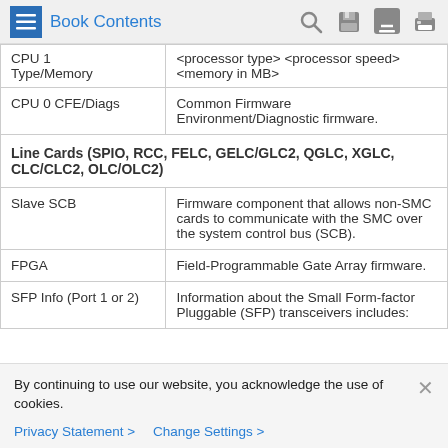Book Contents
| Component | Description |
| --- | --- |
| CPU 1 Type/Memory | <processor type> <processor speed> <memory in MB> |
| CPU 0 CFE/Diags | Common Firmware Environment/Diagnostic firmware. |
| Line Cards (SPIO, RCC, FELC, GELC/GLC2, QGLC, XGLC, CLC/CLC2, OLC/OLC2) |  |
| Slave SCB | Firmware component that allows non-SMC cards to communicate with the SMC over the system control bus (SCB). |
| FPGA | Field-Programmable Gate Array firmware. |
| SFP Info (Port 1 or 2) | Information about the Small Form-factor Pluggable (SFP) transceivers includes: |
By continuing to use our website, you acknowledge the use of cookies.
Privacy Statement > Change Settings >